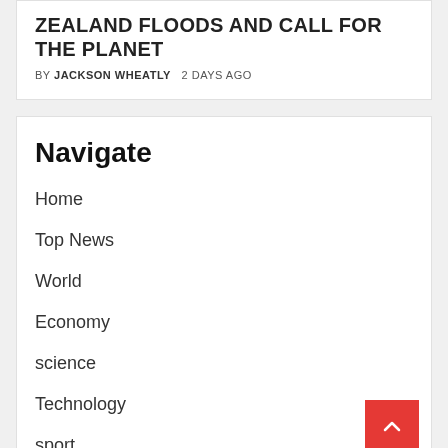ZEALAND FLOODS AND CALL FOR THE PLANET
BY JACKSON WHEATLY   2 DAYS AGO
Navigate
Home
Top News
World
Economy
science
Technology
sport